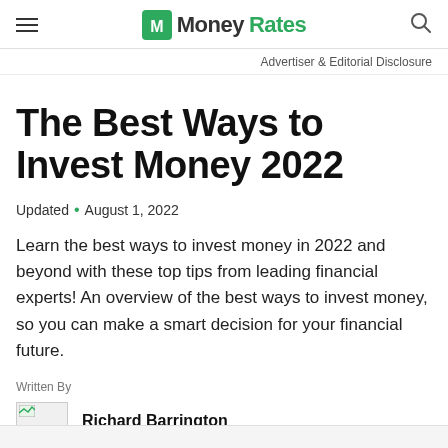MoneyRates
Advertiser & Editorial Disclosure
The Best Ways to Invest Money 2022
Updated • August 1, 2022
Learn the best ways to invest money in 2022 and beyond with these top tips from leading financial experts! An overview of the best ways to invest money, so you can make a smart decision for your financial future.
Written By
Richard Barrington
Financial Analyst